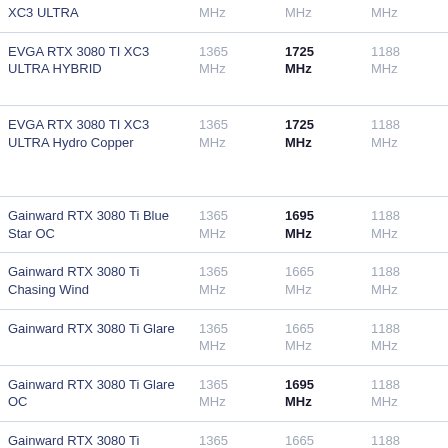| Model | Base Clock | Boost Clock | Memory Clock | Notes |
| --- | --- | --- | --- | --- |
| XC3 ULTRA | MHz | MHz | MHz |  |
| EVGA RTX 3080 TI XC3 ULTRA HYBRID | 1365 MHz | 1725 MHz | 1188 MHz | 263 mm/10.4 inches |
| EVGA RTX 3080 TI XC3 ULTRA Hydro Copper | 1365 MHz | 1725 MHz | 1188 MHz | 263 mm/10.4 inches, Single-slot |
| Gainward RTX 3080 Ti Blue Star OC | 1365 MHz | 1695 MHz | 1188 MHz |  |
| Gainward RTX 3080 Ti Chasing Wind | 1365 MHz | 1665 MHz | 1188 MHz |  |
| Gainward RTX 3080 Ti Glare | 1365 MHz | 1665 MHz | 1188 MHz |  |
| Gainward RTX 3080 Ti Glare OC | 1365 MHz | 1695 MHz | 1188 MHz |  |
| Gainward RTX 3080 Ti Phantom | 1365 MHz | 1665 MHz | 1188 MHz | 304 mm/12 inches, Triple-slot |